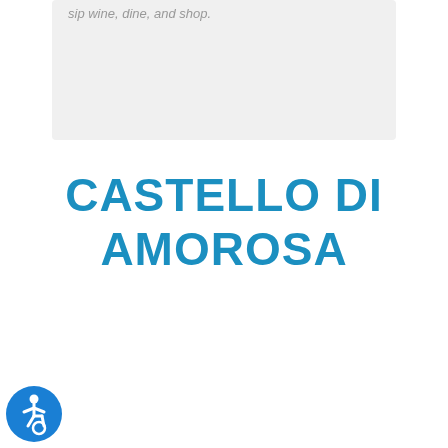sip wine, dine, and shop.
CASTELLO DI AMOROSA
[Figure (illustration): Blue circular accessibility/wheelchair icon]